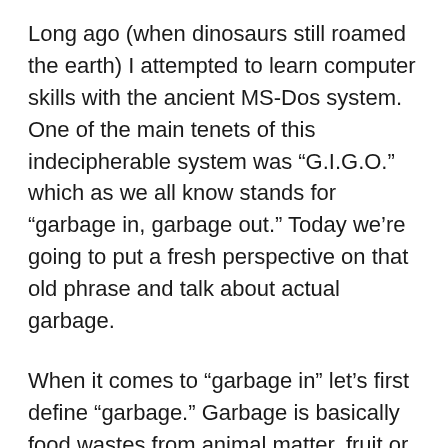Long ago (when dinosaurs still roamed the earth) I attempted to learn computer skills with the ancient MS-Dos system.  One of the main tenets of this indecipherable system was “G.I.G.O.” which as we all know stands for “garbage in, garbage out.”  Today we’re going to put a fresh perspective on that old phrase and talk about actual garbage.
When it comes to “garbage in” let’s first define “garbage.”  Garbage is basically food wastes from animal matter, fruit or vegetable matter originally meant as food or waste products from the preparation of food.  The storage of this material